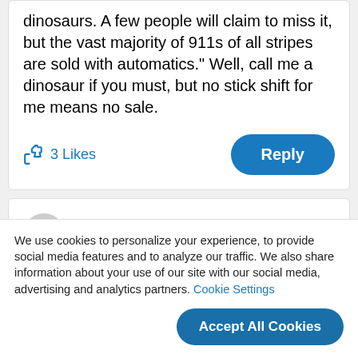dinosaurs. A few people will claim to miss it, but the vast majority of 911s of all stripes are sold with automatics." Well, call me a dinosaur if you must, but no stick shift for me means no sale.
3 Likes
Reply
coshproductions · Pit Crew
We use cookies to personalize your experience, to provide social media features and to analyze our traffic. We also share information about your use of our site with our social media, advertising and analytics partners. Cookie Settings
Accept All Cookies